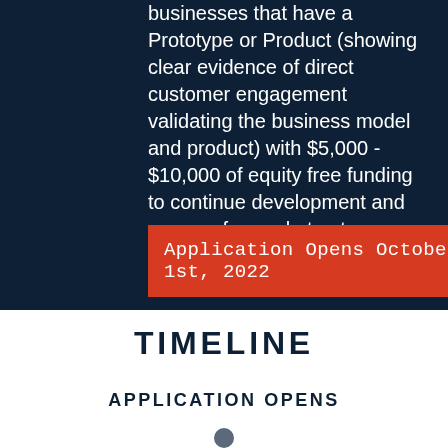businesses that have a Prototype or Product (showing clear evidence of direct customer engagement validating the business model and product) with $5,000 - $10,000 of equity free funding to continue development and prepare for market entry.
Application Opens October 1st, 2022
TIMELINE
APPLICATION OPENS